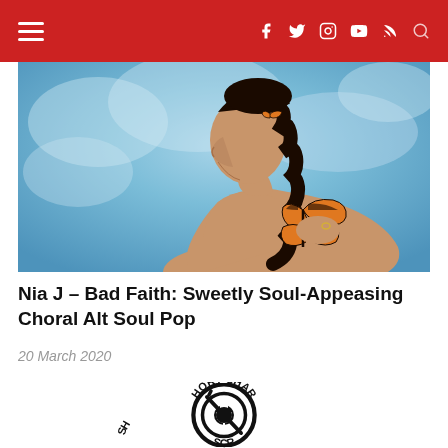Navigation bar with hamburger menu and social icons: f, twitter, instagram, youtube, rss, search
[Figure (photo): A woman in profile view with braided hair adorned with monarch butterflies, against a blue cloudy background. She is bare-shouldered with a butterfly resting on her hand near her shoulder.]
Nia J – Bad Faith: Sweetly Soul-Appeasing Choral Alt Soul Pop
20 March 2020
[Figure (logo): Short Sharp Scratch logo — circular badge with a microphone/record player graphic in the center, text reading SHORT SHARP around the top and SCR (Scratch) around the bottom, all in black on white.]